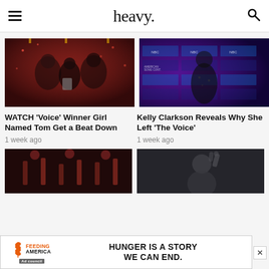heavy.
[Figure (photo): Three people holding a trophy, celebrating on stage with red confetti lighting - Voice winner Girl Named Tom]
[Figure (photo): Kelly Clarkson posing at American Song Contest event backdrop in black floral dress]
WATCH 'Voice' Winner Girl Named Tom Get a Beat Down
1 week ago
Kelly Clarkson Reveals Why She Left 'The Voice'
1 week ago
[Figure (photo): Dark stage with red lighting, partial bottom image]
[Figure (photo): Man with hand raised, partial bottom image]
[Figure (other): Feeding America Ad Council advertisement - HUNGER IS A STORY WE CAN END.]